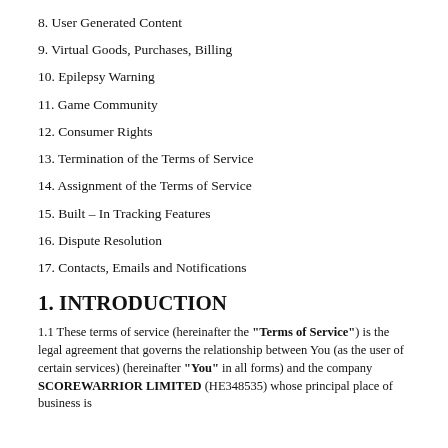8. User Generated Content
9. Virtual Goods, Purchases, Billing
10. Epilepsy Warning
11. Game Community
12. Consumer Rights
13. Termination of the Terms of Service
14. Assignment of the Terms of Service
15. Built – In Tracking Features
16. Dispute Resolution
17. Contacts, Emails and Notifications
1. INTRODUCTION
1.1 These terms of service (hereinafter the "Terms of Service") is the legal agreement that governs the relationship between You (as the user of certain services) (hereinafter "You" in all forms) and the company SCOREWARRIOR LIMITED (HE348535) whose principal place of business is